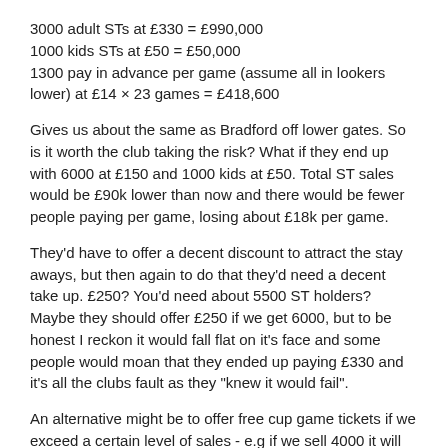3000 adult STs at £330 = £990,000
1000 kids STs at £50 = £50,000
1300 pay in advance per game (assume all in lookers lower) at £14 × 23 games = £418,600
Gives us about the same as Bradford off lower gates. So is it worth the club taking the risk? What if they end up with 6000 at £150 and 1000 kids at £50. Total ST sales would be £90k lower than now and there would be fewer people paying per game, losing about £18k per game.
They'd have to offer a decent discount to attract the stay aways, but then again to do that they'd need a decent take up. £250? You'd need about 5500 ST holders?
Maybe they should offer £250 if we get 6000, but to be honest I reckon it would fall flat on it's face and some people would moan that they ended up paying £330 and it's all the clubs fault as they "knew it would fail".
An alternative might be to offer free cup game tickets if we exceed a certain level of sales - e.g if we sell 4000 it will include JPT round 1, or Carling Cup round 1. 4500 will include a 2nd cup